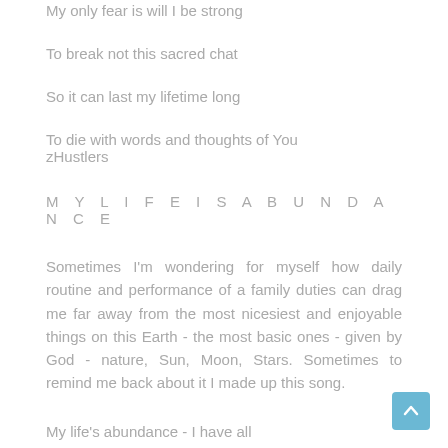My only fear is will I be strong
To break not this sacred chat
So it can last my lifetime long
To die with words and thoughts of You
zHustlers
M Y L I F E I S A B U N D A N C E
Sometimes I'm wondering for myself how daily routine and performance of a family duties can drag me far away from the most nicesiest and enjoyable things on this Earth - the most basic ones - given by God - nature, Sun, Moon, Stars. Sometimes to remind me back about it I made up this song.
My life's abundance - I have all